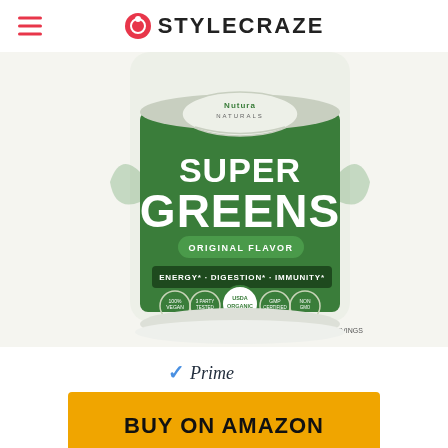STYLECRAZE
[Figure (photo): Nutura Naturals Super Greens powder container with green label, showing ORIGINAL FLAVOR, ENERGY, DIGESTION, IMMUNITY, USDA Organic badge, Whole Food Powder, Net Wt 8.5 oz (240g), 30 Servings]
[Figure (logo): Amazon Prime logo with blue checkmark and italic Prime text]
BUY ON AMAZON